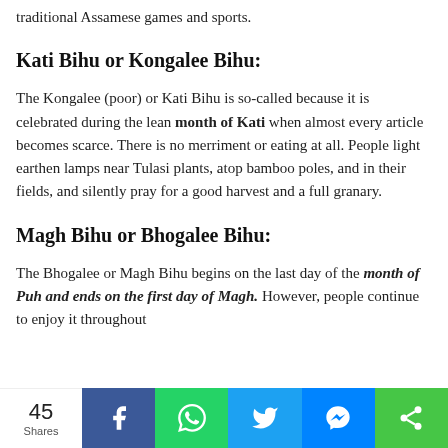traditional Assamese games and sports.
Kati Bihu or Kongalee Bihu:
The Kongalee (poor) or Kati Bihu is so-called because it is celebrated during the lean month of Kati when almost every article becomes scarce. There is no merriment or eating at all. People light earthen lamps near Tulasi plants, atop bamboo poles, and in their fields, and silently pray for a good harvest and a full granary.
Magh Bihu or Bhogalee Bihu:
The Bhogalee or Magh Bihu begins on the last day of the month of Puh and ends on the first day of Magh. However, people continue to enjoy it throughout
45 Shares